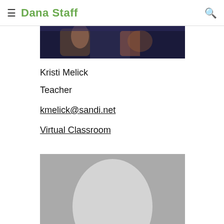Dana Staff
[Figure (photo): Top portion of a photo showing a person in a dark floral outfit]
Kristi Melick
Teacher
kmelick@sandi.net
Virtual Classroom
[Figure (photo): Default placeholder profile photo with grey background and light grey oval silhouette]